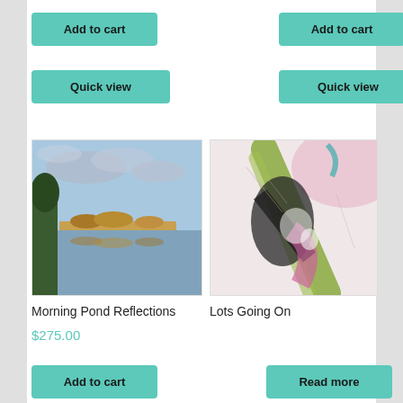Add to cart
Add to cart
Quick view
Quick view
[Figure (photo): Painting of morning pond reflections with sky, clouds, trees and water reflection]
[Figure (photo): Abstract painting titled Lots Going On with pink, green, black and white brushstrokes]
Morning Pond Reflections
Lots Going On
$275.00
Read more
Add to cart